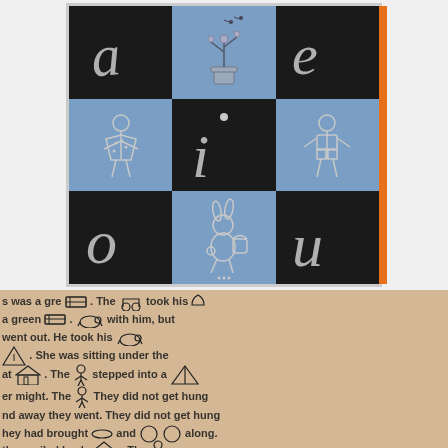[Figure (illustration): A vintage educational book cover showing a checkerboard pattern of dark and blue squares with cursive vowel letters (a, e, i, o, u) and small illustrated figures including a girl, a boy, a rabbit with basket, and a potted plant. An orange strip runs along the right edge.]
[Figure (illustration): A vintage children's reader page on tan/beige background with black printed text interspersed with small inline illustrations (bench, dog, house, boy figure, boat, hat, balls, house). Text fragments visible: 'was a green', 'The', 'took his', 'a green', 'with him, but', 'went out. He took his', 'She was sitting under the', 'at', 'stepped into a', 'er might. The', 'nd away they went. They did not get hung', 'and', 'along.', 'hey had brought', 'The', 'they sailed back', 'and wer']